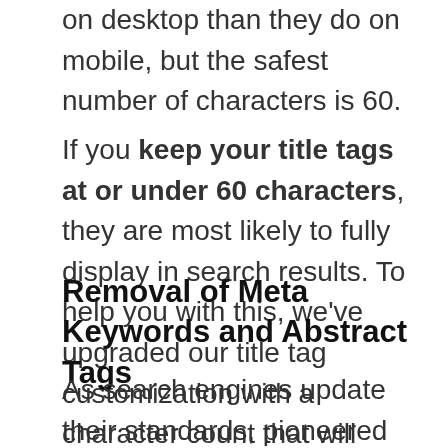on desktop than they do on mobile, but the safest number of characters is 60.
If you keep your title tags at or under 60 characters, they are most likely to fully display in search results. To help you with this, we've upgraded our title tag customization with a character count that will warn you when you reach 60 characters.
Removal of Meta Keywords and Abstract Tags
As search engines update their standards, pioneered by Google, previously common meta tags become deprecated. These include the meta